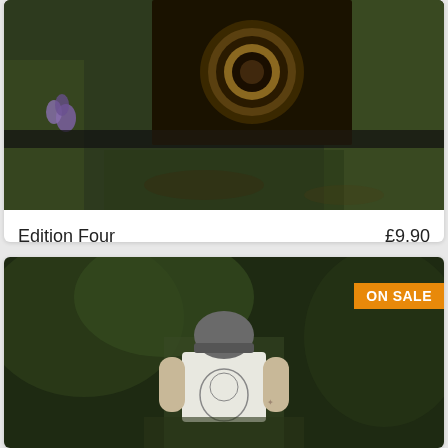[Figure (photo): Product listing card showing a collage photo of a vintage camera lens and purple flowers on grass background]
Edition Four
£9.90
£18.00
[Figure (photo): Product listing card showing a man from behind wearing a white graphic t-shirt and grey beanie hat, standing in a forest path. Orange ON SALE badge in top right corner.]
ON SALE